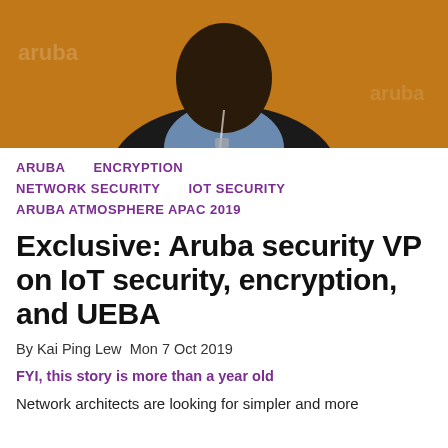[Figure (photo): Headshot of a man in a blue shirt and lanyard, set against an orange branded background]
ARUBA    ENCRYPTION
NETWORK SECURITY    IOT SECURITY
ARUBA ATMOSPHERE APAC 2019
Exclusive: Aruba security VP on IoT security, encryption, and UEBA
By Kai Ping Lew  Mon 7 Oct 2019
FYI, this story is more than a year old
Network architects are looking for simpler and more